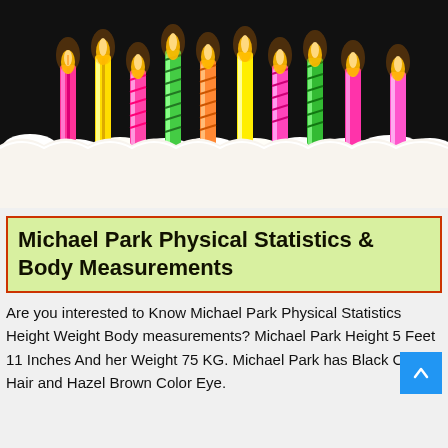[Figure (photo): Birthday cake with multiple colorful lit candles (pink, yellow, green, orange) against a dark background. White frosting decorations visible at the bottom of the cake.]
Michael Park Physical Statistics & Body Measurements
Are you interested to Know Michael Park Physical Statistics Height Weight Body measurements? Michael Park Height 5 Feet 11 Inches And her Weight 75 KG. Michael Park has Black Color Hair and Hazel Brown Color Eye.